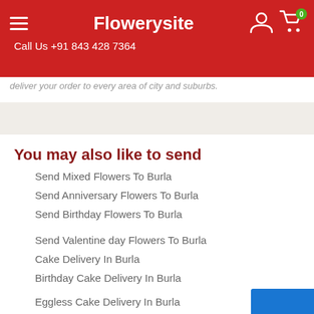Flowerysite — Call Us +91 843 428 7364
deliver your order to every area of city and suburbs.
You may also like to send
Send Mixed Flowers To Burla
Send Anniversary Flowers To Burla
Send Birthday Flowers To Burla
Send Valentine day Flowers To Burla
Cake Delivery In Burla
Birthday Cake Delivery In Burla
Eggless Cake Delivery In Burla
5 Star Cake Delivery In Burla
Send Gifts To Burla
Send Teddy Bears To Burla